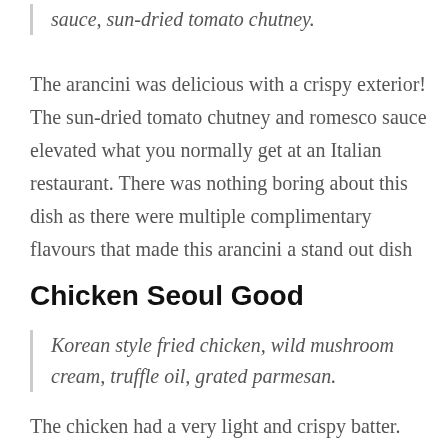sauce, sun-dried tomato chutney.
The arancini was delicious with a crispy exterior! The sun-dried tomato chutney and romesco sauce elevated what you normally get at an Italian restaurant. There was nothing boring about this dish as there were multiple complimentary flavours that made this arancini a stand out dish
Chicken Seoul Good
Korean style fried chicken, wild mushroom cream, truffle oil, grated parmesan.
The chicken had a very light and crispy batter. The truffle oil and mushroom flavour in the cream was